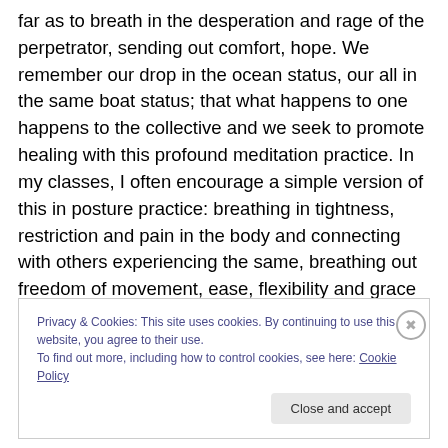far as to breath in the desperation and rage of the perpetrator, sending out comfort, hope. We remember our drop in the ocean status, our all in the same boat status; that what happens to one happens to the collective and we seek to promote healing with this profound meditation practice. In my classes, I often encourage a simple version of this in posture practice: breathing in tightness, restriction and pain in the body and connecting with others experiencing the same, breathing out freedom of movement, ease, flexibility and grace for ourselves and all sentient beings. Yesterday we dedicated our practice to
Privacy & Cookies: This site uses cookies. By continuing to use this website, you agree to their use.
To find out more, including how to control cookies, see here: Cookie Policy
Close and accept